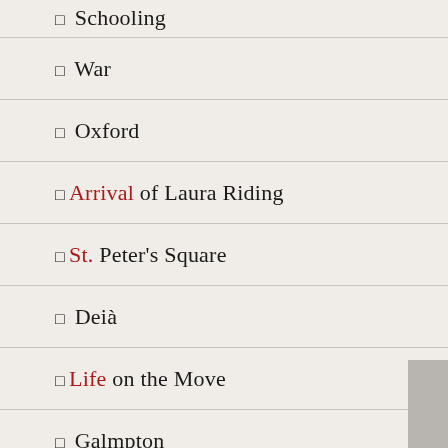◻ Schooling
◻ War
◻ Oxford
◻ Arrival of Laura Riding
◻ St. Peter's Square
◻ Deià
◻ Life on the Move
◻ Galmpton